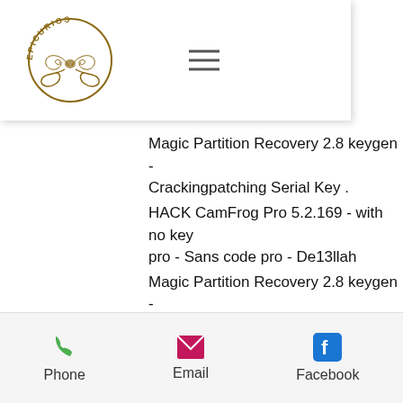[Figure (logo): Epicurios logo: decorative gold/brown emblem with text EPICURIOS around top arc]
pro - llah
Magic Partition Recovery 2.8 keygen - Crackingpatching Serial Key .
HACK CamFrog Pro 5.2.169 - with no key pro - Sans code pro - De13llah
Magic Partition Recovery 2.8 keygen - Crackingpatching Serial Key .
HACK CamFrog Pro 5.2.169 - with no key pro - Sans code pro - De13llah
Magic Partition Recovery 2.8 keygen - Crackingpatching Serial Key .
HACK CamFrog Pro 5.2.169 - with no key pro - Sans code pro - De13llah
Magic Partition Recovery 2.8 keygen -
Phone  Email  Facebook